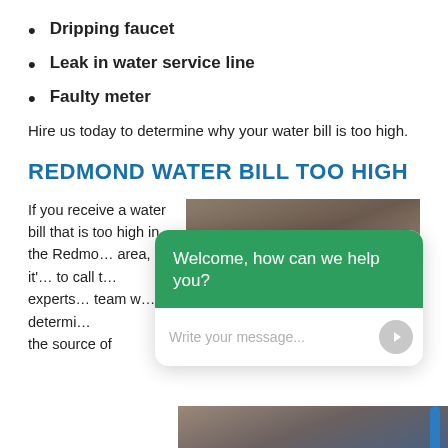Dripping faucet
Leak in water service line
Faulty meter
Hire us today to determine why your water bill is too high.
REDMOND WATER BILL TOO HIGH
If you receive a water bill that is too high in the Redmo… area, it'… to call t… experts… team w… determi… the source of
[Figure (photo): Photo of underground water pipe and soil, with a blue pipe visible on the right side]
[Figure (screenshot): Chat widget overlay with green header saying 'Welcome, how can we help you?' and a text input field with placeholder 'Write your message...']